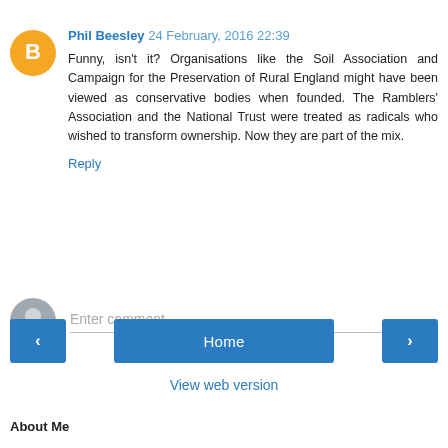Phil Beesley 24 February, 2016 22:39
Funny, isn't it? Organisations like the Soil Association and Campaign for the Preservation of Rural England might have been viewed as conservative bodies when founded. The Ramblers' Association and the National Trust were treated as radicals who wished to transform ownership. Now they are part of the mix.
Reply
Enter comment
Home
View web version
About Me